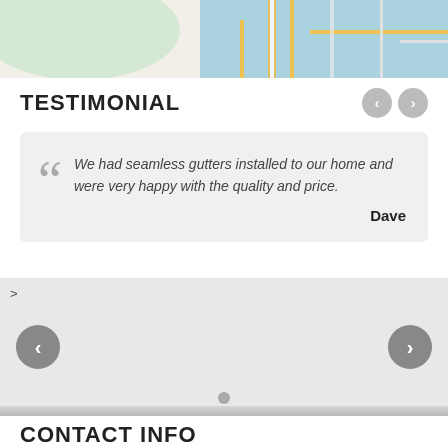[Figure (map): Google Maps partial view showing Briarfield area with route 664 highway marker, water bodies and road network]
TESTIMONIAL
We had seamless gutters installed to our home and were very happy with the quality and price.
— Dave
[Figure (other): Image slider placeholder with left and right navigation arrow buttons and a pagination dot at the bottom]
CONTACT INFO